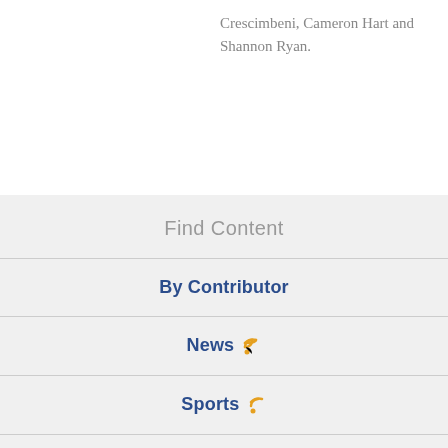Crescimbeni, Cameron Hart and Shannon Ryan.
Find Content
By Contributor
News
Sports
Centre County Report
CommRadio
Special Coverage